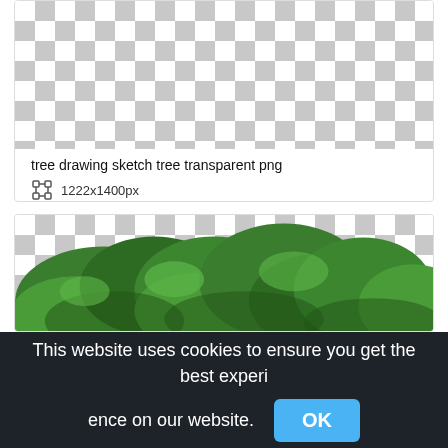[Figure (screenshot): Top card showing a checkerboard transparent background pattern for a PNG image]
tree drawing sketch tree transparent png
1222x1400px
[Figure (photo): Second card showing a checkerboard transparent background with green tree foliage visible at the bottom]
This website uses cookies to ensure you get the best experience on our website.
OK